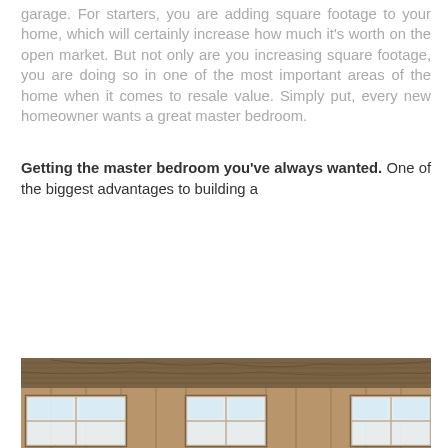garage. For starters, you are adding square footage to your home, which will certainly increase how much it's worth on the open market. But not only are you increasing square footage, you are doing so in one of the most important areas of the home when it comes to resale value. Simply put, every new homeowner wants a great master bedroom.
Getting the master bedroom you've always wanted. One of the biggest advantages to building a
[Figure (photo): Interior photo of a room under construction, showing wooden plank ceiling, wood-paneled walls, and three windows with light coming through.]